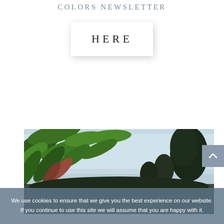COLORS NEWSLETTER
HERE
[Figure (photo): Outdoor photo showing tropical green leaves in the foreground against a pale blue sky, with darker tree silhouettes on the right side.]
We use cookies to ensure that we give you the best experience on our website. If you continue to use this site we will assume that you are happy with it.